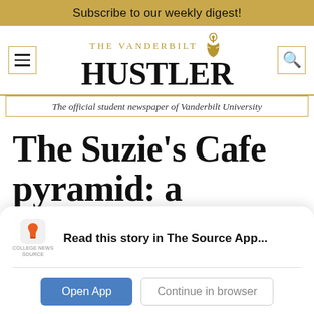Subscribe to our weekly digest!
[Figure (logo): The Vanderbilt Hustler newspaper logo with anchor graphic, menu icon, and search icon]
The official student newspaper of Vanderbilt University
The Suzie's Cafe pyramid: a definitive ranking of Vanderbilt's
[Figure (other): College News Source app overlay with logo, 'Read this story in The Source App...' text, Open App button, and Continue in browser button]